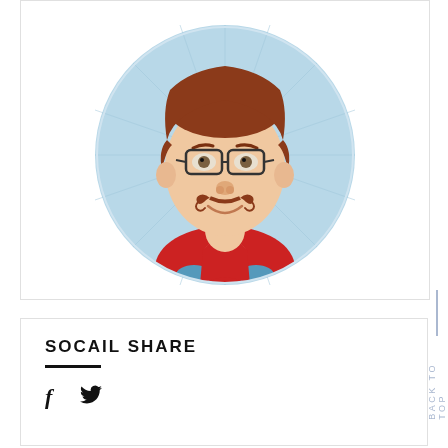[Figure (illustration): Cartoon avatar illustration of a man with brown hair, glasses, curly mustache, and red jacket inside a circular light blue background]
SOCAIL SHARE
[Figure (illustration): Social media icons: Facebook (f) and Twitter (bird) icons]
BACK TO TOP